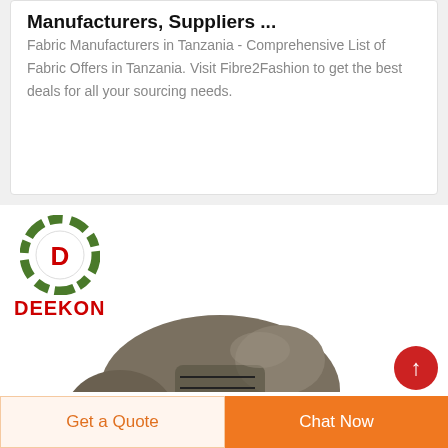Manufacturers, Suppliers ...
Fabric Manufacturers in Tanzania - Comprehensive List of Fabric Offers in Tanzania. Visit Fibre2Fashion to get the best deals for all your sourcing needs.
[Figure (logo): DEEKON brand logo with circular camouflage pattern and red D letter in center, red bold text DEEKON below]
[Figure (photo): Gray safety/work shoe facing left, on white background]
Get a Quote
Chat Now